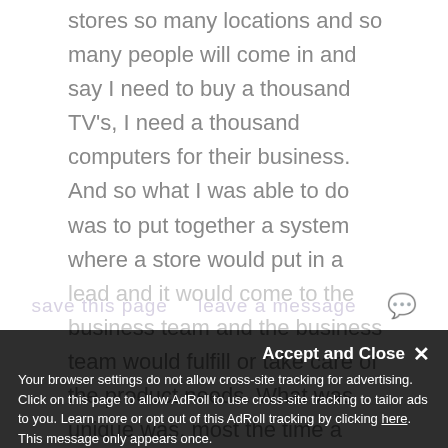stores so many locations and so many people will come in and say I need to buy a thousand TV's, I need a thousand computers for their business. And so what I was able to do was to put together a system where a store would put in a lead and it would come to the business team and the business team would fulfill or take care of the product needs. What was unique was, most the time a store wanted the business. They wouldn't want to give that up to anybody. I was able to recapture whatever sell that went through the dollars so the credit for that sale would actually go to the stores PNL. The store's PNL was a key facet of their labor and if more sales flowed my way but
Accept and Close ×
Your browser settings do not allow cross-site tracking for advertising. Click on this page to allow AdRoll to use cross-site tracking to tailor ads to you. Learn more or opt out of this AdRoll tracking by clicking here. This message only appears once.